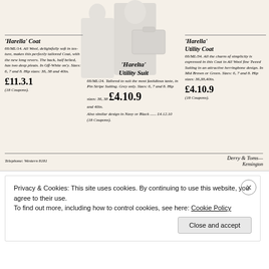[Figure (illustration): Vintage fashion illustration showing women in coats and suits, with luggage]
'Harella' Coat
66/ML/14. All Wool, delightfully soft in texture, makes this perfectly tailored Coat, with the new long revers. The back, half belted, has two deep pleats. In Off-White on'y. Sizes: 6, 7 and 8. Hip sizes: 36, 38 and 40in.
£11.3.1
(18 Coupons).
'Harelta' Utility Suit
66/ML/24. Tailored to suit the most fastidious taste, in Pin Stripe Suiting. Grey only. Sizes: 6, 7 and 8. Hip sizes: 36, 38 and 40in. £4.10.9
Also similar design in Navy or Black ...... £4.12.10
(18 Coupons).
'Harella' Utility Coat
66/ML/34. All the charm of simplicity is expressed in this Coat in All Wool fine Tweed Suiting in an attractive herringbone design. In Mid Brown or Green. Sizes: 6, 7 and 8. Hip sizes: 36, 38, 40in.
£4.10.9
(18 Coupons).
Telephone: Western 8181
Privacy & Cookies: This site uses cookies. By continuing to use this website, you agree to their use.
To find out more, including how to control cookies, see here: Cookie Policy